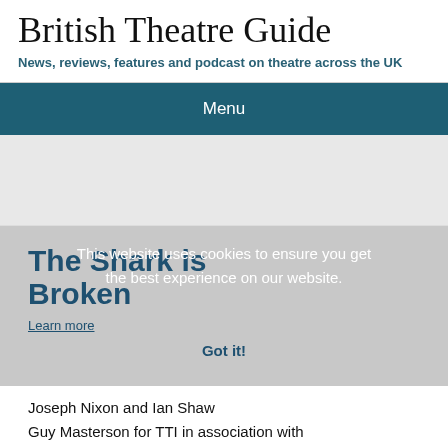British Theatre Guide
News, reviews, features and podcast on theatre across the UK
Menu
The Shark is Broken
This website uses cookies to ensure you get the best experience on our website.
Learn more
Got it!
Joseph Nixon and Ian Shaw
Guy Masterson for TTI in association with
Shooting The Breeze